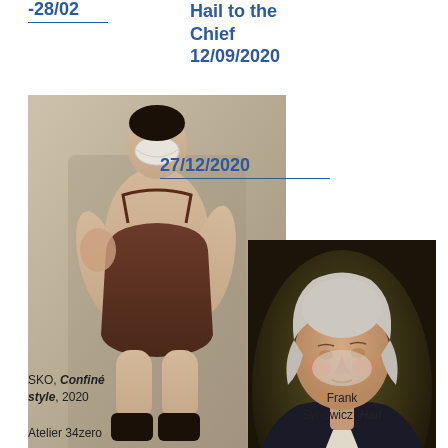-28/02
Hail to the Chief
12/09/2020
27/12/2020
[Figure (photo): Sepia-toned photograph of a muscular wrestler/athlete in a singlet, wearing a white mask over face, standing against a plain background]
[Figure (photo): Portrait painting of George Washington wearing a black coat and white cravat, with white/grey powdered hair, face partially obscured]
SKO, Confiné style, 2020
Frank Synowicz, Hail
Atelier 34zero